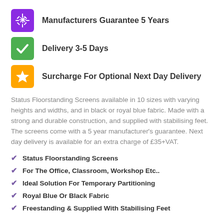Manufacturers Guarantee 5 Years
Delivery 3-5 Days
Surcharge For Optional Next Day Delivery
Status Floorstanding Screens available in 10 sizes with varying heights and widths, and in black or royal blue fabric. Made with a strong and durable construction, and supplied with stabilising feet. The screens come with a 5 year manufacturer's guarantee. Next day delivery is available for an extra charge of £35+VAT.
Status Floorstanding Screens
For The Office, Classroom, Workshop Etc..
Ideal Solution For Temporary Partitioning
Royal Blue Or Black Fabric
Freestanding & Supplied With Stabilising Feet